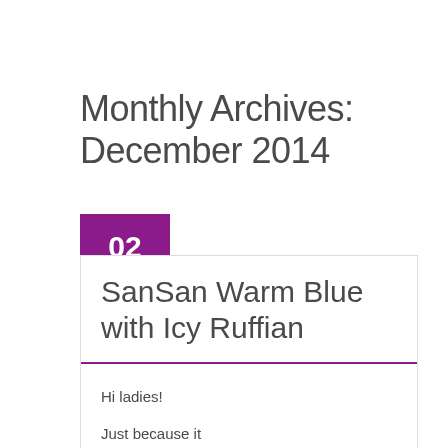Monthly Archives: December 2014
02 DEC
SanSan Warm Blue with Icy Ruffian
Hi ladies!

Just because it is Monday doesn't mean…